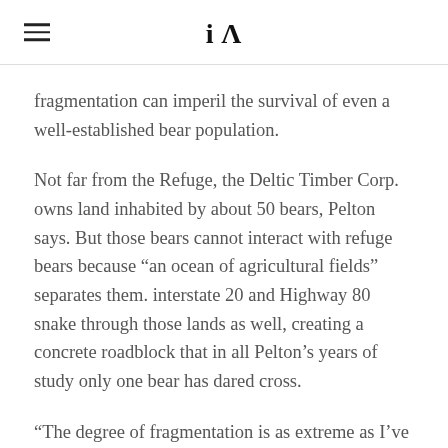iA
fragmentation can imperil the survival of even a well-established bear population.
Not far from the Refuge, the Deltic Timber Corp. owns land inhabited by about 50 bears, Pelton says. But those bears cannot interact with refuge bears because “an ocean of agricultural fields” separates them. interstate 20 and Highway 80 snake through those lands as well, creating a concrete roadblock that in all Pelton’s years of study only one bear has dared cross.
“The degree of fragmentation is as extreme as I’ve